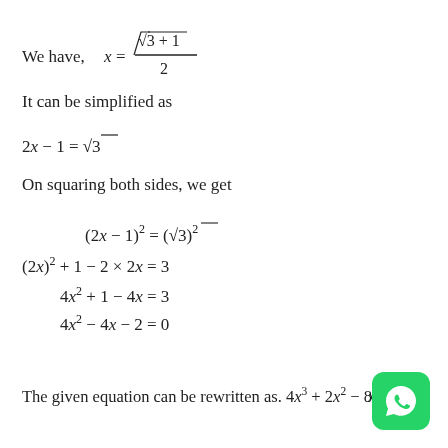It can be simplified as
On squaring both sides, we get
The given equation can be rewritten as. 4x³ + 2x² − 8x + ... x² −